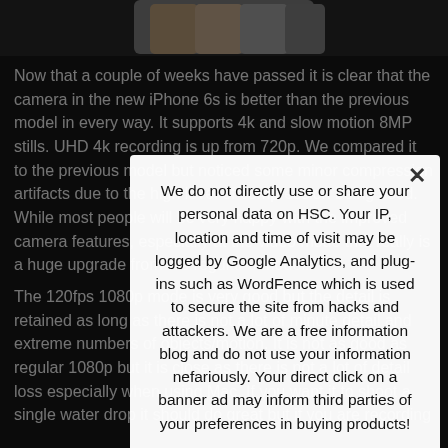[Figure (photo): Partial image of iPhone 6s devices in multiple colors (gold, rose gold, silver, space gray) shown at the top of the page]
Now that a couple of weeks have passed it is clear that the camera in the new iPhone 6s is better than the previous model in every way. It supports 4k and slow motion 8MP stills. UHD 4k recording is up from 720p. We compared it to the previous model but noticed some minor compression artifacts due to the high level of compression being used. While most people will be very happy with the improved camera features, especially at the video mode that really is a huge upgrade from the regular 6 model.
We do not directly use or share your personal data on HSC. Your IP, location and time of visit may be logged by Google Analytics, and plug-ins such as WordFence which is used to secure the site from hacks and attackers. We are a free information blog and do not use your information nefariously. Your direct click on a banner ad may inform third parties of your preferences in buying products!
The 120fps 1080p mode is very good but the detail is retained as long as there is not a lot of minute detail and extreme numbers of objects/motion. It is not as good as regular 1080p but it is close as there is not a lot of detail loss especially when using Mac. If you want it to shoot a single water drop it should do great but if you are recording